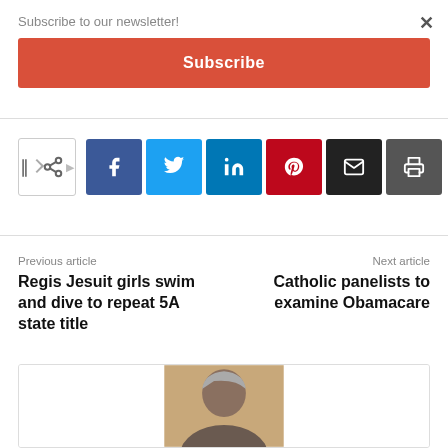Subscribe to our newsletter!
Subscribe
[Figure (infographic): Social share buttons row: share toggle, Facebook, Twitter, LinkedIn, Pinterest, Email, Print icons]
Previous article
Regis Jesuit girls swim and dive to repeat 5A state title
Next article
Catholic panelists to examine Obamacare
[Figure (photo): Author photo: person with gray hair on a golden/tan background, cropped at chest level]